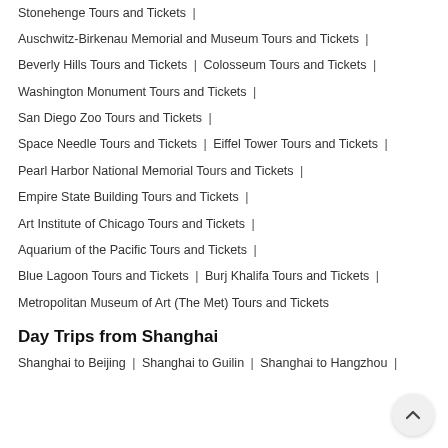Stonehenge Tours and Tickets |
Auschwitz-Birkenau Memorial and Museum Tours and Tickets |
Beverly Hills Tours and Tickets | Colosseum Tours and Tickets |
Washington Monument Tours and Tickets |
San Diego Zoo Tours and Tickets |
Space Needle Tours and Tickets | Eiffel Tower Tours and Tickets |
Pearl Harbor National Memorial Tours and Tickets |
Empire State Building Tours and Tickets |
Art Institute of Chicago Tours and Tickets |
Aquarium of the Pacific Tours and Tickets |
Blue Lagoon Tours and Tickets | Burj Khalifa Tours and Tickets |
Metropolitan Museum of Art (The Met) Tours and Tickets
Day Trips from Shanghai
Shanghai to Beijing | Shanghai to Guilin | Shanghai to Hangzhou |